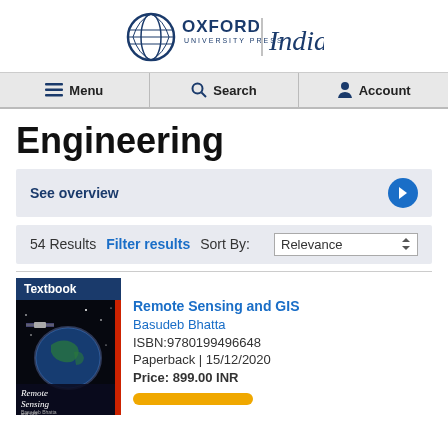[Figure (logo): Oxford University Press India logo with circular emblem and text]
Menu | Search | Account
Engineering
See overview
54 Results   Filter results   Sort By: Relevance
Textbook
[Figure (photo): Book cover of Remote Sensing and GIS by Basudeb Bhatta showing satellite imagery and globe]
Remote Sensing and GIS
Basudeb Bhatta
ISBN:9780199496648
Paperback | 15/12/2020
Price: 899.00 INR